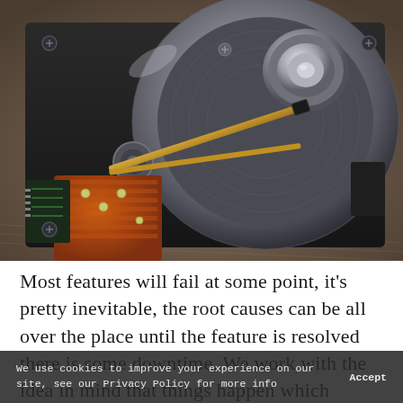[Figure (photo): Close-up photograph of an open hard disk drive (HDD) showing the read/write arm with orange-copper actuator coil assembly, metallic platters, and circuit board components on a textured surface.]
Most features will fail at some point, it's pretty inevitable, the root causes can be all over the place until the feature is resolved there is some downtime. We work with the idea in mind that things happen which changes how we develop
We use cookies to improve your experience on our site, see our Privacy Policy for more info